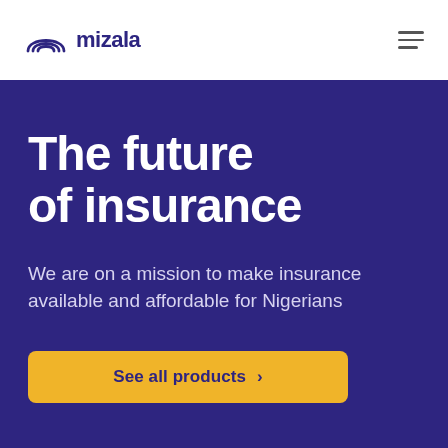[Figure (logo): Mizala logo with arch/rainbow icon and wordmark 'mizala' in dark navy blue]
The future of insurance
We are on a mission to make insurance available and affordable for Nigerians
See all products →